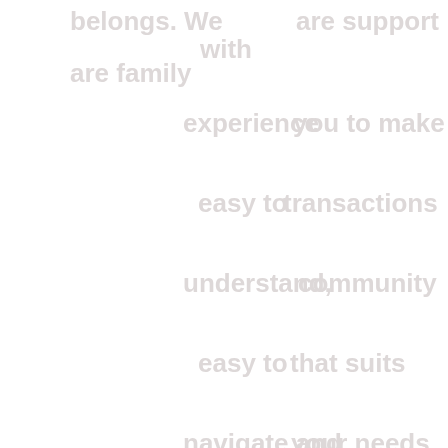belongs. We
are family
with
we support
experience
you to make
easy to
transactions
understand,
community
easy to
that suits
navigate and
your needs
easy to find
and
can help you
and a
with